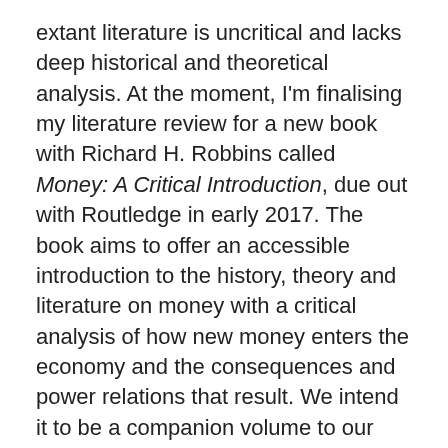extant literature is uncritical and lacks deep historical and theoretical analysis. At the moment, I'm finalising my literature review for a new book with Richard H. Robbins called Money: A Critical Introduction, due out with Routledge in early 2017. The book aims to offer an accessible introduction to the history, theory and literature on money with a critical analysis of how new money enters the economy and the consequences and power relations that result. We intend it to be a companion volume to our recently published Debt as Power with Manchester University Press in the UK and Oxford University Press in the USA.
In Debt as Power we consider the ubiquity of debt at all levels of the global economy and argue that debt is a technology of capitalist power known by